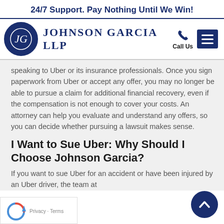24/7 Support. Pay Nothing Until We Win!
[Figure (logo): Johnson Garcia LLP law firm logo with circular JG monogram in navy blue and firm name in serif font]
speaking to Uber or its insurance professionals. Once you sign paperwork from Uber or accept any offer, you may no longer be able to pursue a claim for additional financial recovery, even if the compensation is not enough to cover your costs. An attorney can help you evaluate and understand any offers, so you can decide whether pursuing a lawsuit makes sense.
I Want to Sue Uber: Why Should I Choose Johnson Garcia?
If you want to sue Uber for an accident or have been injured by an Uber driver, the team at